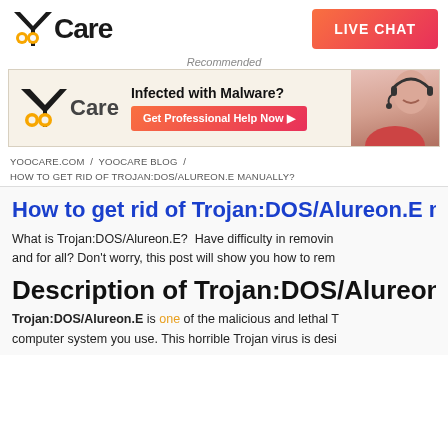YooCare | LIVE CHAT
Recommended
[Figure (infographic): YooCare ad banner: Infected with Malware? Get Professional Help Now button with person wearing headset on right]
YOOCARE.COM / YOOCARE BLOG / HOW TO GET RID OF TROJAN:DOS/ALUREON.E MANUALLY?
How to get rid of Trojan:DOS/Alureon.E manually?
What is Trojan:DOS/Alureon.E? Have difficulty in removing it once and for all? Don't worry, this post will show you how to remove…
Description of Trojan:DOS/Alureon
Trojan:DOS/Alureon.E is one of the malicious and lethal Trojan virus that threatens any computer system you use. This horrible Trojan virus is desi…